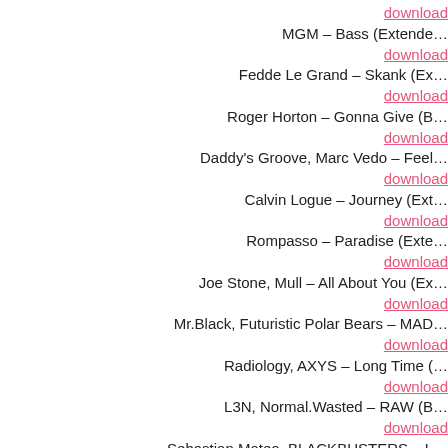download
MGM – Bass (Extended…)
download
Fedde Le Grand – Skank (Ex…)
download
Roger Horton – Gonna Give (B…)
download
Daddy's Groove, Marc Vedo – Feel…
download
Calvin Logue – Journey (Ext…)
download
Rompasso – Paradise (Exte…)
download
Joe Stone, Mull – All About You (Ex…)
download
Mr.Black, Futuristic Polar Bears – MAD…
download
Radiology, AXYS – Long Time (…)
download
L3N, Normal.Wasted – RAW (B…)
download
Sebastian Mateo, BLACKBUSTERS – L…